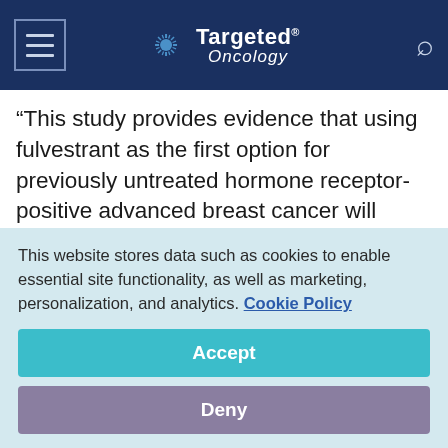Targeted Oncology
“This study provides evidence that using fulvestrant as the first option for previously untreated hormone receptor-positive advanced breast cancer will prolong the time before the disease advances and alternative therapies are required,” Matthew Ellis, MD, PhD, director of the Lester and Sue Smith Breast Center, part of the NCI-designated Dan L
This website stores data such as cookies to enable essential site functionality, as well as marketing, personalization, and analytics. Cookie Policy
Accept
Deny